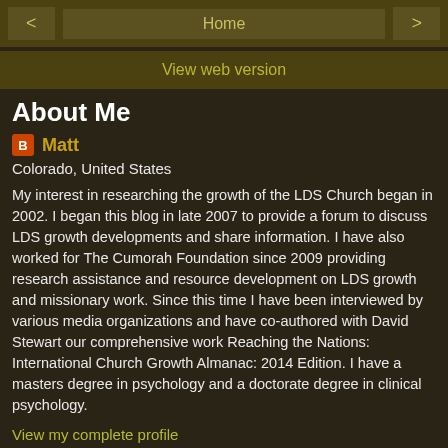< Home >
View web version
About Me
Matt — Colorado, United States
My interest in researching the growth of the LDS Church began in 2002. I began this blog in late 2007 to provide a forum to discuss LDS growth developments and share information. I have also worked for The Cumorah Foundation since 2009 providing research assistance and resource development on LDS growth and missionary work. Since this time I have been interviewed by various media organizations and have co-authored with David Stewart our comprehensive work Reaching the Nations: International Church Growth Almanac: 2014 Edition. I have a masters degree in psychology and a doctorate degree in clinical psychology.
View my complete profile
Powered by Blogger.